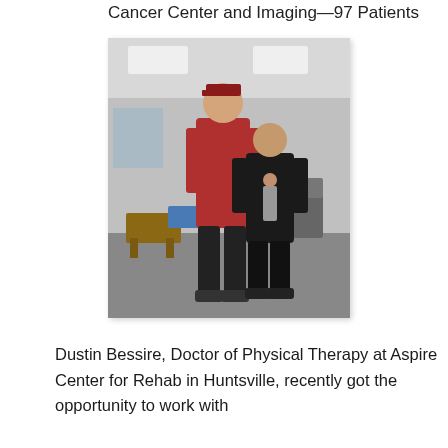Cancer Center and Imaging—97 Patients
[Figure (photo): Two men standing together in a physical therapy/rehabilitation clinic. The taller man wears a red striped shirt and dark pants with a red cap. The shorter man wears all black. Exercise equipment and treatment tables are visible in the background.]
Dustin Bessire, Doctor of Physical Therapy at Aspire Center for Rehab in Huntsville, recently got the opportunity to work with